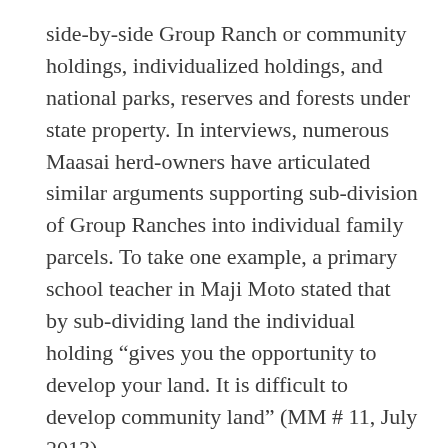side-by-side Group Ranch or community holdings, individualized holdings, and national parks, reserves and forests under state property. In interviews, numerous Maasai herd-owners have articulated similar arguments supporting sub-division of Group Ranches into individual family parcels. To take one example, a primary school teacher in Maji Moto stated that by sub-dividing land the individual holding “gives you the opportunity to develop your land. It is difficult to develop community land” (MM # 11, July 2013).
We now understand that common property is not ungoverned, as is the case described by “open access”, but signifies defined holdings of a right-holding community. Today, commons are often held by